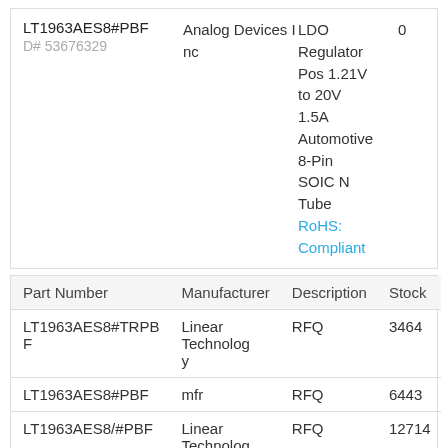| Part Number | Manufacturer | Description | Stock |
| --- | --- | --- | --- |
| LT1963AES8#PBF
D# 53676329 | Analog Devices Inc | LDO Regulator Pos 1.21V to 20V 1.5A Automotive 8-Pin SOIC N Tube
RoHS: Compliant | 0 |
| Part Number | Manufacturer | Description | Stock |
| --- | --- | --- | --- |
| LT1963AES8#TRPBF | Linear Technology | RFQ | 3464 |
| LT1963AES8#PBF | mfr | RFQ | 6443 |
| LT1963AES8/#PBF | Linear Technology | RFQ | 12714 |
| Part Number | Manufacturer | Description | Stock |
| --- | --- | --- | --- |